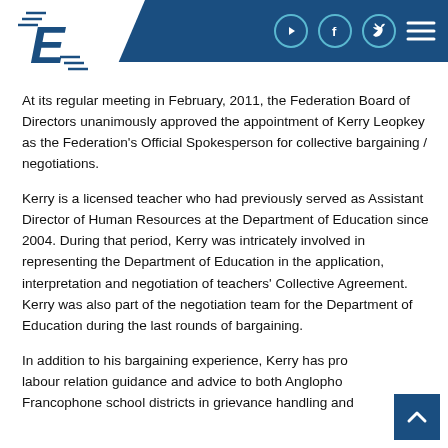Federation header with logo, social icons (YouTube, Facebook, Twitter), and hamburger menu
At its regular meeting in February, 2011, the Federation Board of Directors unanimously approved the appointment of Kerry Leopkey as the Federation's Official Spokesperson for collective bargaining / negotiations.
Kerry is a licensed teacher who had previously served as Assistant Director of Human Resources at the Department of Education since 2004. During that period, Kerry was intricately involved in representing the Department of Education in the application, interpretation and negotiation of teachers' Collective Agreement. Kerry was also part of the negotiation team for the Department of Education during the last rounds of bargaining.
In addition to his bargaining experience, Kerry has provided labour relation guidance and advice to both Anglophone and Francophone school districts in grievance handling and